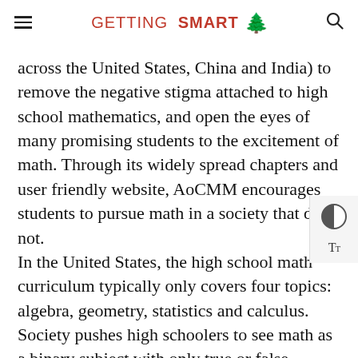GETTING SMART
across the United States, China and India) to remove the negative stigma attached to high school mathematics, and open the eyes of many promising students to the excitement of math. Through its widely spread chapters and user friendly website, AoCMM encourages students to pursue math in a society that does not. In the United States, the high school math curriculum typically only covers four topics: algebra, geometry, statistics and calculus. Society pushes high schoolers to see math as a binary subject with only true or false answers solved through one standardized method. On the flipside, subjects like art and computer